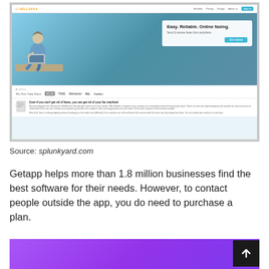[Figure (screenshot): Screenshot of HelloFax website showing 'Easy. Reliable. Online faxing.' hero section with a man sitting on a ledge using a laptop against a sky background, press logos (The New York Times, WIRED, TIME, lifehacker, Inc., Forbes), and a feature section about removing the need for a fax machine.]
Source: splunkyard.com
Getapp helps more than 1.8 million businesses find the best software for their needs. However, to contact people outside the app, you do need to purchase a plan.
[Figure (other): Purple/violet gradient bar at the bottom of the page]